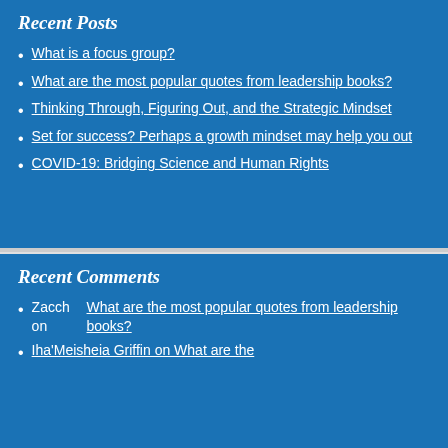Recent Posts
What is a focus group?
What are the most popular quotes from leadership books?
Thinking Through, Figuring Out, and the Strategic Mindset
Set for success? Perhaps a growth mindset may help you out
COVID-19: Bridging Science and Human Rights
Recent Comments
Zacch on What are the most popular quotes from leadership books?
Iha'Meisheia Griffin on What are the